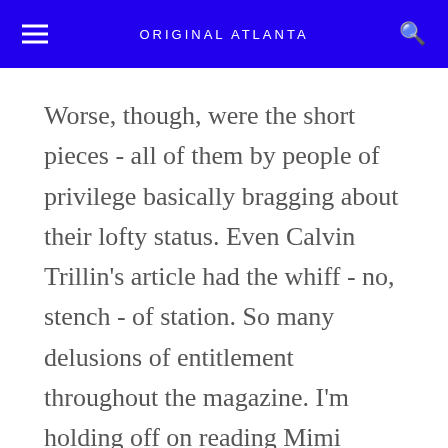ORIGINAL ATLANTA
Worse, though, were the short pieces - all of them by people of privilege basically bragging about their lofty status. Even Calvin Trillin's article had the whiff - no, stench - of station. So many delusions of entitlement throughout the magazine. I'm holding off on reading Mimi Sheraton's article. I don't want it sullied by the bad taste left in my mouth by the others.